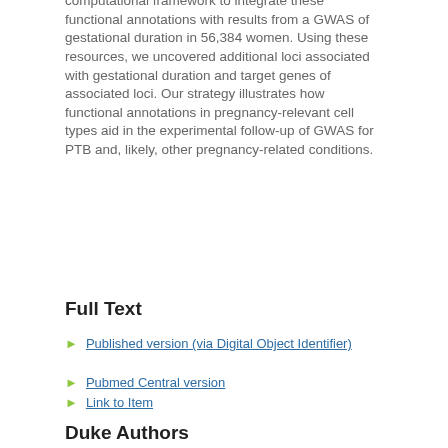computational framework to integrate these functional annotations with results from a GWAS of gestational duration in 56,384 women. Using these resources, we uncovered additional loci associated with gestational duration and target genes of associated loci. Our strategy illustrates how functional annotations in pregnancy-relevant cell types aid in the experimental follow-up of GWAS for PTB and, likely, other pregnancy-related conditions.
Full Text
Published version (via Digital Object Identifier)
Pubmed Central version
Link to Item
Duke Authors